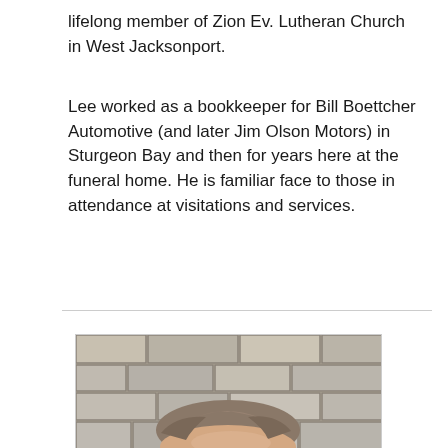lifelong member of Zion Ev. Lutheran Church in West Jacksonport.
Lee worked as a bookkeeper for Bill Boettcher Automotive (and later Jim Olson Motors) in Sturgeon Bay and then for years here at the funeral home. He is familiar face to those in attendance at visitations and services.
[Figure (photo): Partial portrait photo of a middle-aged man with short brown/grey hair against a stone brick wall background. Only the top portion of the head and forehead are visible.]